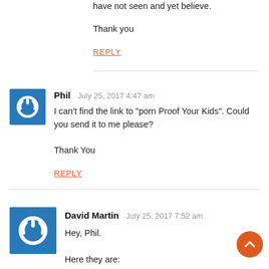have not seen and yet believe.
Thank you
REPLY
Phil   July 25, 2017 4:47 am
I can't find the link to "porn Proof Your Kids". Could you send it to me please?

Thank You
REPLY
David Martin   July 25, 2017 7:52 am
Hey, Phil.

Here they are: